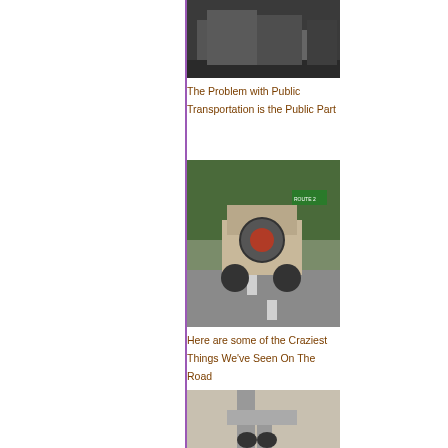[Figure (photo): People on public transportation, crowded scene]
The Problem with Public Transportation is the Public Part
[Figure (photo): Photo of a jeep on the road with a spare tire on back, road scene]
Here are some of the Craziest Things We've Seen On The Road
[Figure (photo): Pipes on a wall, plumbing]
You have to wonder what
[Figure (photo): Baby in white outfit, endearing and adorable]
Babies, endearing, adorable, lovable darling babies to your day
[Figure (photo): People dressed in American flag outfits for 4th of July]
These people ha of July Spirit!
[Figure (photo): Person with SAU SA text overlay, vandalism themed]
Vandalism Yoo...